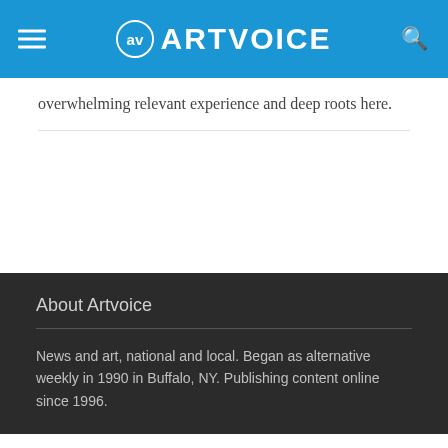ARTVOICE
overwhelming relevant experience and deep roots here.
About Artvoice
News and art, national and local. Began as alternative weekly in 1990 in Buffalo, NY. Publishing content online since 1996.